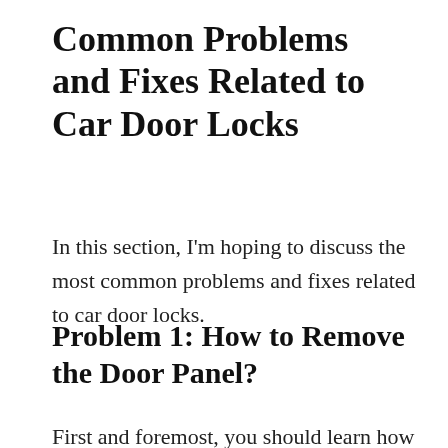Common Problems and Fixes Related to Car Door Locks
In this section, I'm hoping to discuss the most common problems and fixes related to car door locks.
Problem 1: How to Remove the Door Panel?
First and foremost, you should learn how